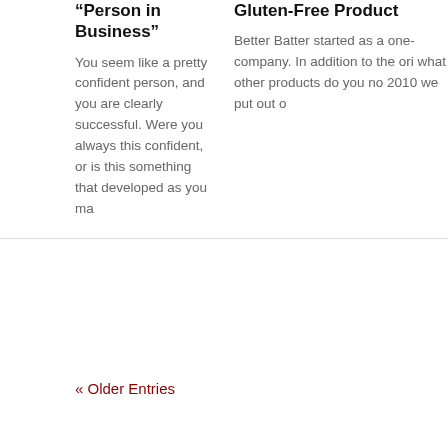“Person in Business”
You seem like a pretty confident person, and you are clearly successful. Were you always this confident, or is this something that developed as you ma
Gluten-Free Product
Better Batter started as a one- company. In addition to the ori what other products do you no 2010 we put out o
« Older Entries